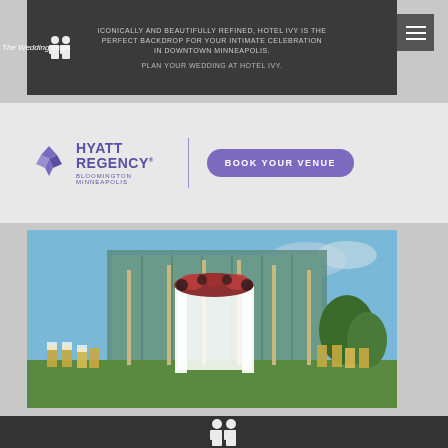[Figure (logo): The Wedding Guys logo with silhouette figures in white text on left side]
ICONICALLY AND BEAUTIFULLY REFINED, HOTEL IVY IS THE PERFECT BACKDROP FOR YOUR INTIMATE CELEBRATION IN DOWNTOWN MINNEAPOLIS.
PLAN YOUR WEDDING AT HOTEL IVY.
[Figure (logo): Hyatt Regency Bloomington Minneapolis logo with purple diamond icon and text, beside a purple 'BOOK YOUR VENUE' button]
[Figure (photo): Outdoor wedding ceremony setup with white draped arch decorated with flowers, bamboo poles, golden chiavari chairs on a green lawn in front of a modern glass building]
[Figure (logo): The Wedding Guys silhouette logo at bottom of page]